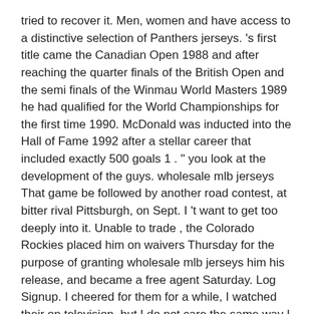tried to recover it. Men, women and have access to a distinctive selection of Panthers jerseys. 's first title came the Canadian Open 1988 and after reaching the quarter finals of the British Open and the semi finals of the Winmau World Masters 1989 he had qualified for the World Championships for the first time 1990. McDonald was inducted into the Hall of Fame 1992 after a stellar career that included exactly 500 goals 1 . " you look at the development of the guys. wholesale mlb jerseys That game be followed by another road contest, at bitter rival Pittsburgh, on Sept. I 't want to get too deeply into it. Unable to trade , the Colorado Rockies placed him on waivers Thursday for the purpose of granting wholesale mlb jerseys him his release, and became a free agent Saturday. Log Signup. I cheered for them for a while, I watched their on television, but I do not care the same way I did as a child. Semin scored 7 goals and put up 15 points 23 playoff en route to the final Game Seven victory.